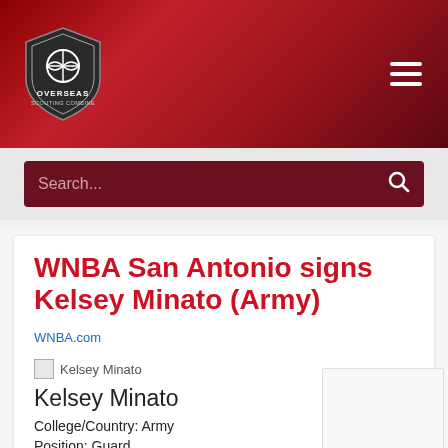[Figure (logo): Overseas Scouting Combine basketball logo - shield shape with basketball icon, white text on dark background]
Overseas Scouting Combine website header with navigation hamburger menu
Search...
WNBA San Antonio signs Kelsey Minato (Army)
WNBA.com
[Figure (photo): Kelsey Minato player photo (broken image)]
Kelsey Minato
College/Country: Army
Position: Guard